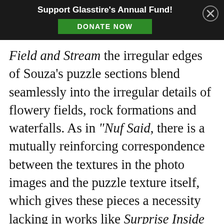Support Glasstire's Annual Fund! DONATE NOW
Field and Stream the irregular edges of Souza's puzzle sections blend seamlessly into the irregular details of flowery fields, rock formations and waterfalls. As in “Nuf Said, there is a mutually reinforcing correspondence between the textures in the photo images and the puzzle texture itself, which gives these pieces a necessity lacking in works like Surprise Inside and Town and Country.
[Figure (photo): A colorful puzzle image showing vibrant mixed colors and patterns, partially visible at bottom left of page.]
Souza’s puzzle